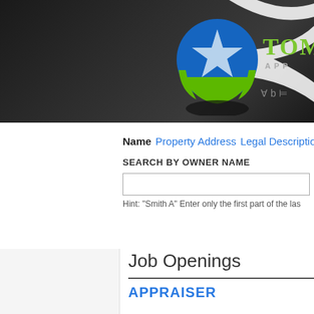[Figure (logo): Company logo with a star icon in a blue/green circle, green company name starting with 'Tom', and 'APP' subtitle text on dark background with swoosh graphic]
Name  Property Address  Legal Description
SEARCH BY OWNER NAME
Hint: "Smith A" Enter only the first part of the las
Job Openings
APPRAISER